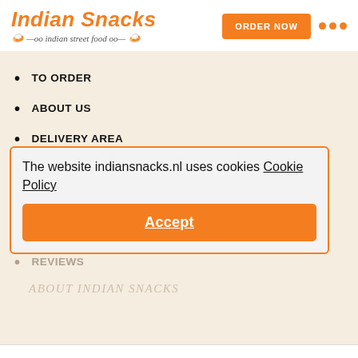Indian Snacks — indian street food — ORDER NOW
TO ORDER
ABOUT US
DELIVERY AREA
PICK-UP TIME AND OPENING TIME
PAYMENT METHOD
MENU
REVIEWS
The website indiansnacks.nl uses cookies Cookie Policy
Accept
ABOUT INDIAN SNACKS